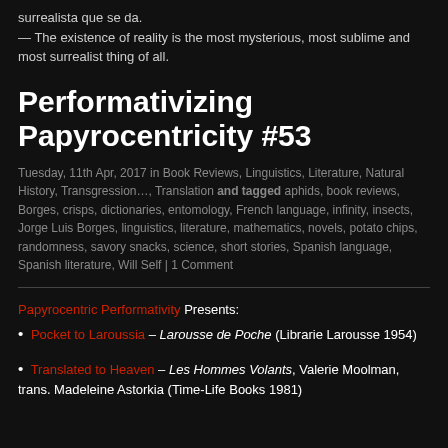surrealista que se da. — The existence of reality is the most mysterious, most sublime and most surrealist thing of all.
Performativizing Papyrocentricity #53
Tuesday, 11th Apr, 2017 in Book Reviews, Linguistics, Literature, Natural History, Transgression..., Translation and tagged aphids, book reviews, Borges, crisps, dictionaries, entomology, French language, infinity, insects, Jorge Luis Borges, linguistics, literature, mathematics, novels, potato chips, randomness, savory snacks, science, short stories, Spanish language, Spanish literature, Will Self | 1 Comment
Papyrocentric Performativity Presents:
Pocket to Laroussia – Larousse de Poche (Librarie Larousse 1954)
Translated to Heaven – Les Hommes Volants, Valerie Moolman, trans. Madeleine Astorkia (Time-Life Books 1981)